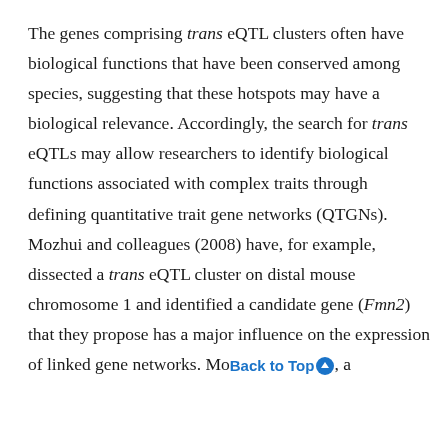The genes comprising trans eQTL clusters often have biological functions that have been conserved among species, suggesting that these hotspots may have a biological relevance. Accordingly, the search for trans eQTLs may allow researchers to identify biological functions associated with complex traits through defining quantitative trait gene networks (QTGNs). Mozhui and colleagues (2008) have, for example, dissected a trans eQTL cluster on distal mouse chromosome 1 and identified a candidate gene (Fmn2) that they propose has a major influence on the expression of linked gene networks. Mo...